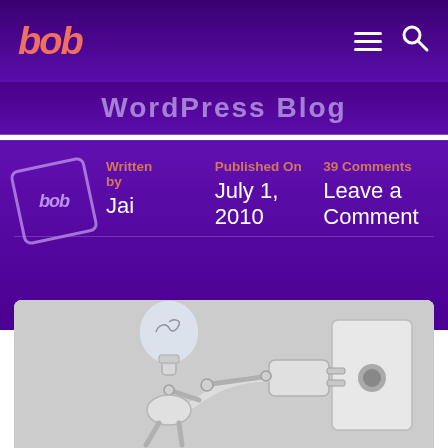bob — navigation bar with logo, hamburger menu, search icon
WordPress Blog
Written by
Jai
Published On
July 1, 2010
39 Comments
Leave a Comment
[Figure (photo): A lightbulb-headed robot figure made of bulb and mechanical arms, plugging an electrical cord into a wall socket. Gray background. 3D illustration.]